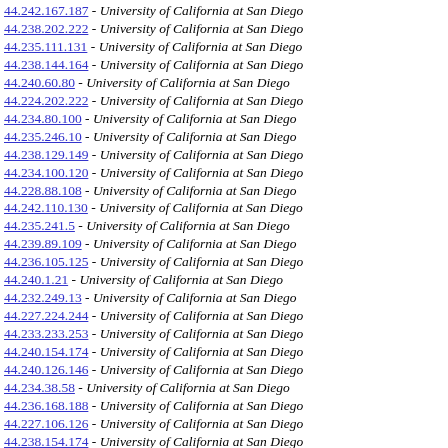44.242.167.187 - University of California at San Diego
44.238.202.222 - University of California at San Diego
44.235.111.131 - University of California at San Diego
44.238.144.164 - University of California at San Diego
44.240.60.80 - University of California at San Diego
44.224.202.222 - University of California at San Diego
44.234.80.100 - University of California at San Diego
44.235.246.10 - University of California at San Diego
44.238.129.149 - University of California at San Diego
44.234.100.120 - University of California at San Diego
44.228.88.108 - University of California at San Diego
44.242.110.130 - University of California at San Diego
44.235.241.5 - University of California at San Diego
44.239.89.109 - University of California at San Diego
44.236.105.125 - University of California at San Diego
44.240.1.21 - University of California at San Diego
44.232.249.13 - University of California at San Diego
44.227.224.244 - University of California at San Diego
44.233.233.253 - University of California at San Diego
44.240.154.174 - University of California at San Diego
44.240.126.146 - University of California at San Diego
44.234.38.58 - University of California at San Diego
44.236.168.188 - University of California at San Diego
44.227.106.126 - University of California at San Diego
44.238.154.174 - University of California at San Diego
44.241.184.204 - University of California at San Diego
44.240.159.179 - University of California at San Diego
44.230.76.96 - University of California at San Diego
44.230.86.106 - University of California at San Diego
44.236.234.244 - University of California at San Diego